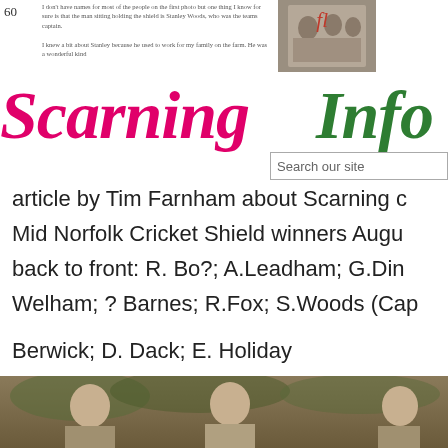60
I don't have names for most of the people on the first photo but one thing I know for sure is that the man sitting holding the shield is Stanley Woods, who was the teams captain.

I knew a bit about Stanley because he used to work for my family on the farm. He was a wonderful kind
[Figure (photo): Historical black and white group photo of cricket team]
Scarning Info
article by Tim Farnham about Scarning c
Mid Norfolk Cricket Shield winners Augu
back to front: R. Bo?; A.Leadham; G.Din
Welham; ? Barnes; R.Fox; S.Woods (Cap
Berwick; D. Dack; E. Holiday
Cricket - img700
People - cricket
Cricket on the playing field - 1950
Ladies cricket on the playing field
[Figure (photo): Sepia-toned photograph of three men standing outdoors, likely cricketers, with trees in the background]